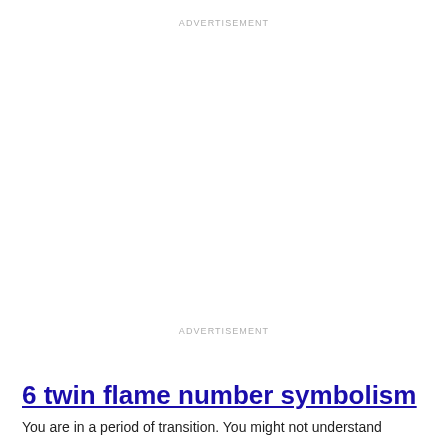ADVERTISEMENT
ADVERTISEMENT
6 twin flame number symbolism
You are in a period of transition. You might not understand